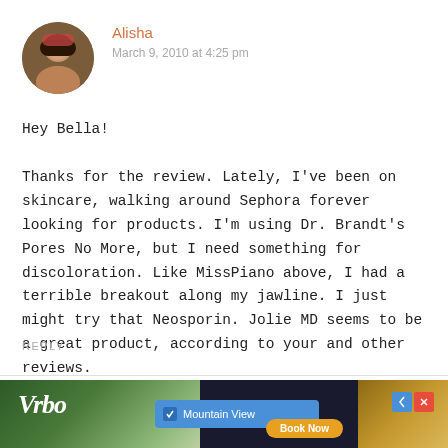[Figure (photo): Circular avatar photo of a woman named Alisha]
Alisha
March 9, 2010 at 4:25 pm
Hey Bella!

Thanks for the review. Lately, I've been on skincare, walking around Sephora forever looking for products. I'm using Dr. Brandt's Pores No More, but I need something for discoloration. Like MissPiano above, I had a terrible breakout along my jawline. I just might try that Neosporin. Jolie MD seems to be a great product, according to your and other reviews.
REPLY
[Figure (screenshot): Vrbo advertisement banner with Mountain View search and Book Now button]